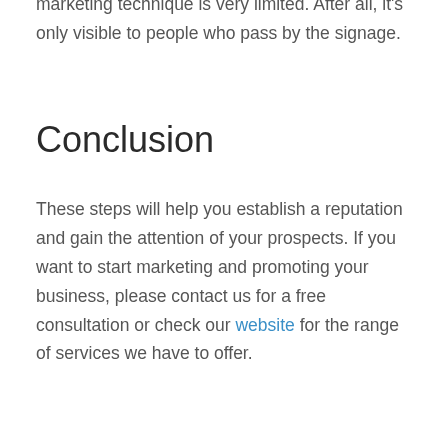marketing technique is very limited. After all, it's only visible to people who pass by the signage.
Conclusion
These steps will help you establish a reputation and gain the attention of your prospects. If you want to start marketing and promoting your business, please contact us for a free consultation or check our website for the range of services we have to offer.